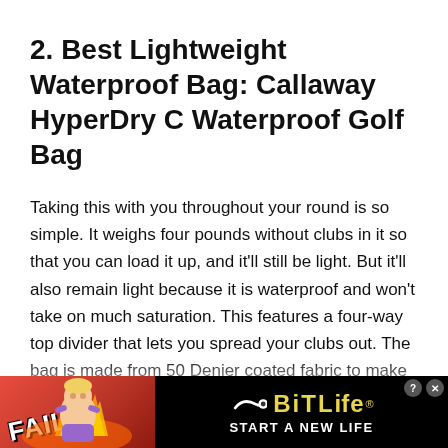2. Best Lightweight Waterproof Bag: Callaway HyperDry C Waterproof Golf Bag
Taking this with you throughout your round is so simple. It weighs four pounds without clubs in it so that you can load it up, and it'll still be light. But it'll also remain light because it is waterproof and won't take on much saturation. This features a four-way top divider that lets you spread your clubs out. The bag is made from 50 Denier coated fabric to make it waterproof.
The dividers are seam-sealed, and the zippers keep...
[Figure (photo): Advertisement banner for BitLife mobile game with 'FAIL' text, animated character, flames, and 'START A NEW LIFE' tagline on black background]